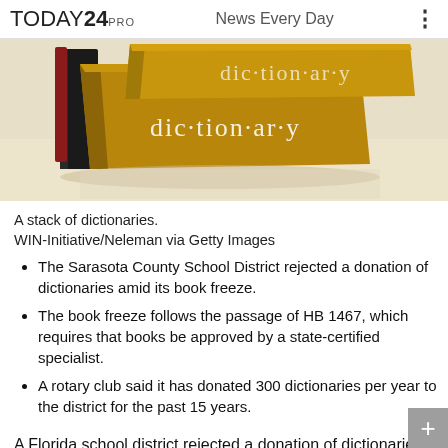TODAY24 PRO   News Every Day
[Figure (photo): A stack of dictionary books on a table, with covers showing 'dictionary' text in gold and white lettering]
A stack of dictionaries.
WIN-Initiative/Neleman via Getty Images
The Sarasota County School District rejected a donation of dictionaries amid its book freeze.
The book freeze follows the passage of HB 1467, which requires that books be approved by a state-certified specialist.
A rotary club said it has donated 300 dictionaries per year to the district for the past 15 years.
A Florida school district rejected a donation of dictionaries amid its book freeze, resulting from...